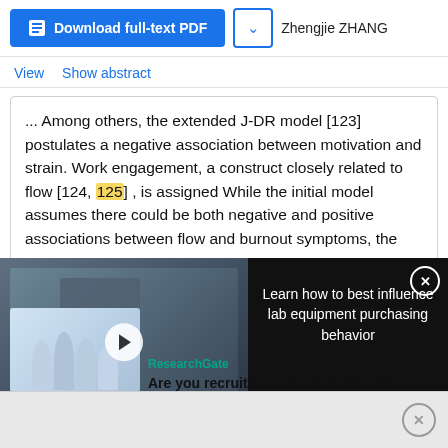[Figure (screenshot): Download full-text PDF button in blue with dropdown arrow, and author name Zhengjie ZHANG]
View   Show abstract
... Among others, the extended J-DR model [123] postulates a negative association between motivation and strain. Work engagement, a construct closely related to flow [124, 125] , is assigned While the initial model assumes there could be both negative and positive associations between flow and burnout symptoms, the
[Figure (screenshot): Video thumbnail showing lab equipment with text LEARN HOW TO BEST INFLUENCE LAB EQUIPMENT PURCHASING BEHAVIOR and play button. Adjacent dark panel with text: Learn how to best influence lab equipment purchasing behavior with close X button.]
[Figure (photo): Advertisement image showing group of people in lab coats (scientists/researchers)]
ResearchGate
Are you recruiting experts in physics?